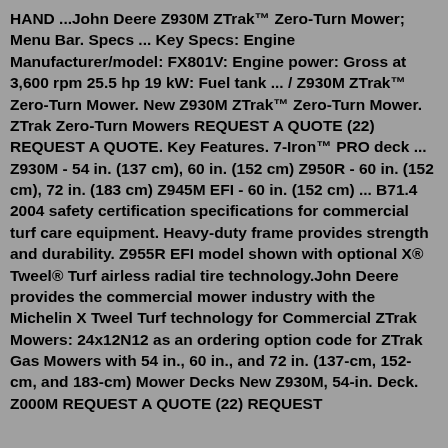HAND ...John Deere Z930M ZTrak™ Zero-Turn Mower; Menu Bar. Specs ... Key Specs: Engine Manufacturer/model: FX801V: Engine power: Gross at 3,600 rpm 25.5 hp 19 kW: Fuel tank ... / Z930M ZTrak™ Zero-Turn Mower. New Z930M ZTrak™ Zero-Turn Mower. ZTrak Zero-Turn Mowers REQUEST A QUOTE (22) REQUEST A QUOTE. Key Features. 7-Iron™ PRO deck ... Z930M - 54 in. (137 cm), 60 in. (152 cm) Z950R - 60 in. (152 cm), 72 in. (183 cm) Z945M EFI - 60 in. (152 cm) ... B71.4 2004 safety certification specifications for commercial turf care equipment. Heavy-duty frame provides strength and durability. Z955R EFI model shown with optional X® Tweel® Turf airless radial tire technology.John Deere provides the commercial mower industry with the Michelin X Tweel Turf technology for Commercial ZTrak Mowers: 24x12N12 as an ordering option code for ZTrak Gas Mowers with 54 in., 60 in., and 72 in. (137-cm, 152-cm, and 183-cm) Mower Decks New Z930M, 54-in. Deck. Z000M REQUEST A QUOTE (22) REQUEST